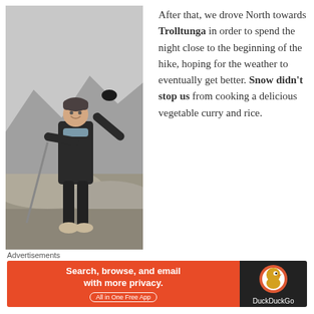[Figure (photo): Woman in dark outdoor clothing and winter hat posing on rocky mountain terrain with one arm raised, overcast sky and mountainous landscape in background]
After that, we drove North towards Trolltunga in order to spend the night close to the beginning of the hike, hoping for the weather to eventually get better. Snow didn't stop us from cooking a delicious vegetable curry and rice.
[Figure (infographic): DuckDuckGo advertisement banner: orange left section with text 'Search, browse, and email with more privacy. All in One Free App' and dark right section with DuckDuckGo logo and name]